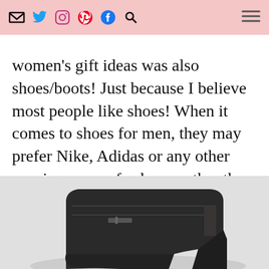social media icons and navigation menu
1. Shoes/Boots: I know! My first suggestion for women's gift ideas was also shoes/boots! Just because I believe most people like shoes! When it comes to shoes for men, they may prefer Nike, Adidas or any other running or comfy shoes, rather than a classic lace-ups or loafers! Find out what are his favorite kinds of shoes!
[Figure (photo): Black leather boot/shoe partially visible at the bottom of the page, cropped, shown on a light gray background]